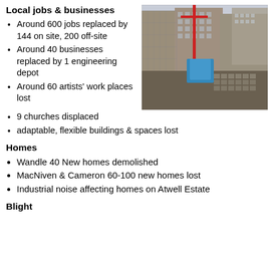Local jobs & businesses
Around 600 jobs replaced by 144 on site, 200 off-site
Around 40 businesses replaced by 1 engineering depot
Around 60 artists' work places lost
9 churches displaced
adaptable, flexible buildings & spaces lost
[Figure (photo): Aerial view of a construction site in an urban area, showing excavation work, scaffolding on a brick building, a red crane, blue construction covers, and construction materials.]
Homes
Wandle 40 New homes demolished
MacNiven & Cameron 60-100 new homes lost
Industrial noise affecting homes on Atwell Estate
Blight